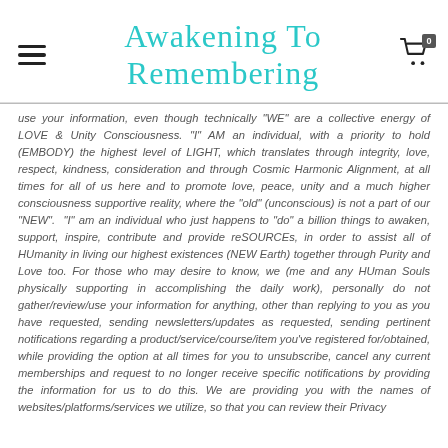Awakening To Remembering
use your information, even though technically "WE" are a collective energy of LOVE & Unity Consciousness. "I" AM an individual, with a priority to hold (EMBODY) the highest level of LIGHT, which translates through integrity, love, respect, kindness, consideration and through Cosmic Harmonic Alignment, at all times for all of us here and to promote love, peace, unity and a much higher consciousness supportive reality, where the "old" (unconscious) is not a part of our "NEW". "I" am an individual who just happens to "do" a billion things to awaken, support, inspire, contribute and provide reSOURCEs, in order to assist all of HUmanity in living our highest existences (NEW Earth) together through Purity and Love too. For those who may desire to know, we (me and any HUman Souls physically supporting in accomplishing the daily work), personally do not gather/review/use your information for anything, other than replying to you as you have requested, sending newsletters/updates as requested, sending pertinent notifications regarding a product/service/course/item you've registered for/obtained, while providing the option at all times for you to unsubscribe, cancel any current memberships and request to no longer receive specific notifications by providing the information for us to do this. We are providing you with the names of websites/platforms/services we utilize, so that you can review their Privacy